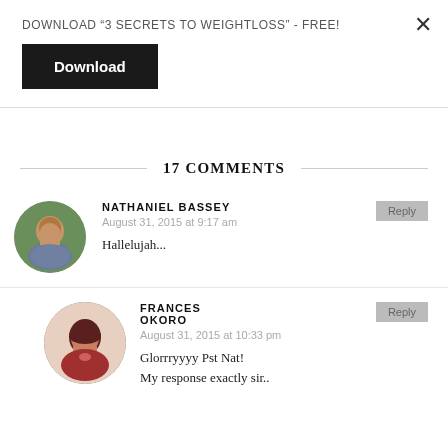DOWNLOAD "3 SECRETS TO WEIGHTLOSS" - FREE!
Download
17 COMMENTS
NATHANIEL BASSEY
August 31, 2015 at 9:17 am
Hallelujah...
FRANCES OKORO
August 31, 2015 at 10:33 pm
Glorrryyyy Pst Nat!
My response exactly sir..